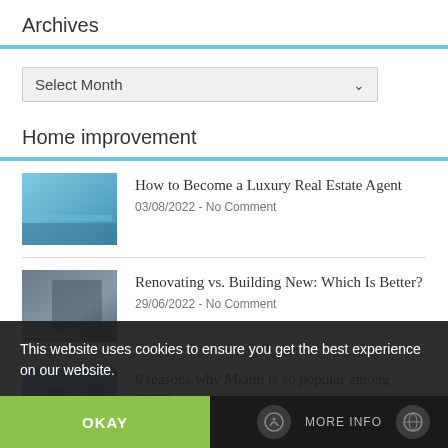Archives
Select Month
Home improvement
[Figure (photo): Thumbnail of luxury pool/real estate]
How to Become a Luxury Real Estate Agent
03/08/2022 - No Comment
[Figure (photo): Thumbnail of person in jeans, renovating]
Renovating vs. Building New: Which Is Better?
29/06/2022 - No Comment
[Figure (photo): Thumbnail of Miami cityscape]
6 reasons why Miami is so popular among young homebuyers
This website uses cookies to ensure you get the best experience on our website.
OKAY
MORE INFO